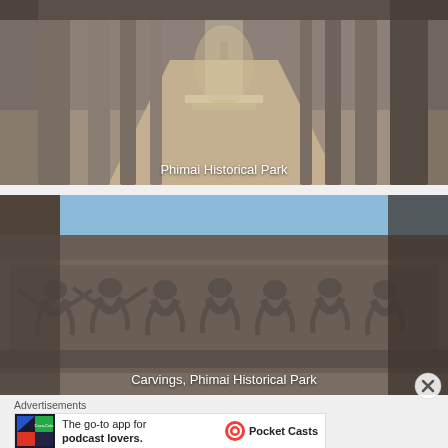[Figure (photo): Stone corridor of Phimai Historical Park with tall stone columns lining a walkway leading into the distance, warm daylight, ancient Khmer architecture]
Phimai Historical Park
[Figure (photo): Stone carving relief panel at Phimai Historical Park showing multiple dancing figures (apsaras) in a row along a stone lintel, blue sky visible above]
Carvings, Phimai Historical Park
Advertisements
[Figure (other): Pocket Casts app advertisement: colorful app icon and text reading 'The go-to app for podcast lovers.' with Pocket Casts logo]